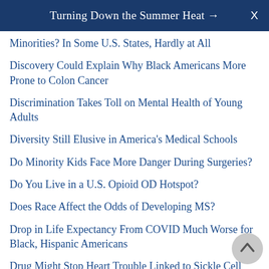Turning Down the Summer Heat →  X
Minorities? In Some U.S. States, Hardly at All
Discovery Could Explain Why Black Americans More Prone to Colon Cancer
Discrimination Takes Toll on Mental Health of Young Adults
Diversity Still Elusive in America's Medical Schools
Do Minority Kids Face More Danger During Surgeries?
Do You Live in a U.S. Opioid OD Hotspot?
Does Race Affect the Odds of Developing MS?
Drop in Life Expectancy From COVID Much Worse for Black, Hispanic Americans
Drug Might Stop Heart Trouble Linked to Sickle Cell Anemia